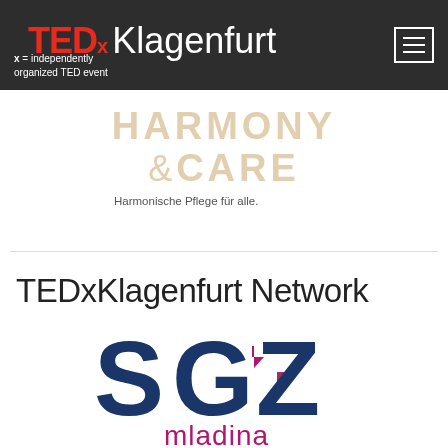TEDx Klagenfurt — x = independently organized TED event
[Figure (logo): Harmony & Care logo with tagline 'Harmonische Pflege für alle.']
TEDxKlagenfurt Network
[Figure (logo): SGZ mladina logo — SGZ in dark navy blue letters, mladina in magenta/purple]